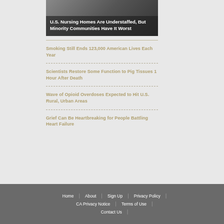[Figure (photo): Photo of people, partially visible, with dark overlay and article title]
U.S. Nursing Homes Are Understaffed, But Minority Communities Have It Worst
Smoking Still Ends 123,000 American Lives Each Year
Scientists Restore Some Function to Pig Tissues 1 Hour After Death
Wave of Opioid Overdoses Expected to Hit U.S. Rural, Urban Areas
Grief Can Be Heartbreaking for People Battling Heart Failure
Home | About | Sign Up | Privacy Policy | CA Privacy Notice | Terms of Use | Contact Us